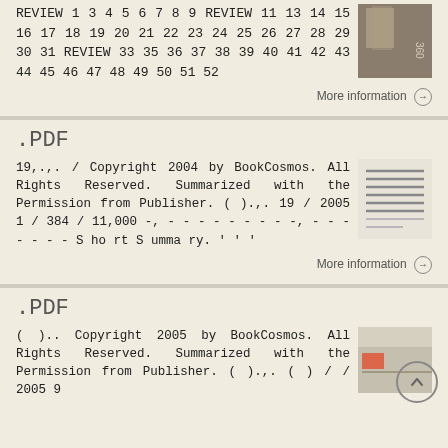REVIEW 1 3 4 5 6 7 8 9 REVIEW 11 13 14 15 16 17 18 19 20 21 22 23 24 25 26 27 28 29 30 31 REVIEW 33 35 36 37 38 39 40 41 42 43 44 45 46 47 48 49 50 51 52
More information →
.PDF
19,.,. / Copyright 2004 by BookCosmos. All Rights Reserved. Summarized with the Permission from Publisher. ( ).,. 19 / 2005 1 / 384 / 11,000 -, - - - - - - - - -, - - - - - - - S ho rt S umma ry. ' ' '
More information →
.PDF
( ).. Copyright 2005 by BookCosmos. All Rights Reserved. Summarized with the Permission from Publisher. ( ).,. ( ) / / 2005 9